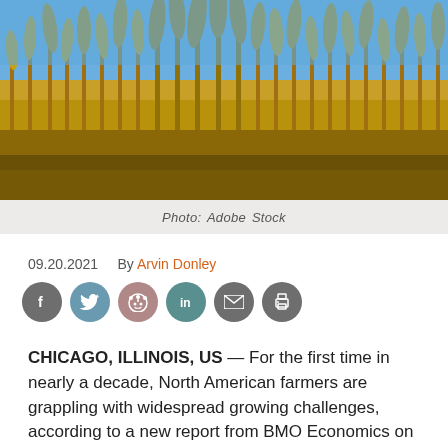[Figure (photo): Close-up photograph of golden wheat stalks against a blue sky]
Photo: Adobe Stock
09.20.2021    By Arvin Donley
[Figure (other): Social media sharing icons: Facebook (dark grey), Twitter (blue-grey), Reddit (pink/mauve), LinkedIn (teal), Email (dark grey), Print (dark grey)]
CHICAGO, ILLINOIS, US — For the first time in nearly a decade, North American farmers are grappling with widespread growing challenges, according to a new report from BMO Economics on the agriculture sector in Canada and the United States.